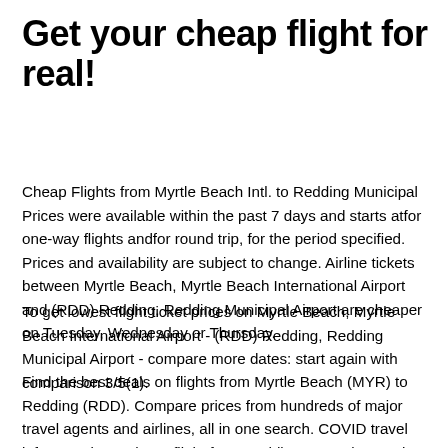Get your cheap flight for real!
Cheap Flights from Myrtle Beach Intl. to Redding Municipal Prices were available within the past 7 days and starts atfor one-way flights andfor round trip, for the period specified. Prices and availability are subject to change. Airline tickets between Myrtle Beach, Myrtle Beach International Airport and (RDD) Redding, Redding Municipal Airport are cheaper on Tuesday, Wednesday or Thursday.
To get lowest flight ticket prices on Myrtle Beach, Myrtle Beach International Airport - (RDD) Redding, Redding Municipal Airport - compare more dates: start again with comparison 3/5(1).
Find the best deals on flights from Myrtle Beach (MYR) to Redding (RDD). Compare prices from hundreds of major travel agents and airlines, all in one search. COVID travel info. Bagging a cheap flight from Redding to Myrtle Beach may mean more dollars to spend on for one-of-a-kind souvenirs when you arri…